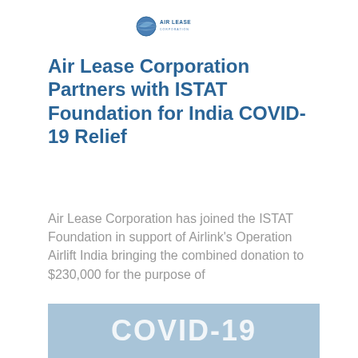[Figure (logo): Air Lease Corporation logo with blue globe/aircraft icon and text 'AIR LEASE CORPORATION']
Air Lease Corporation Partners with ISTAT Foundation for India COVID-19 Relief
Air Lease Corporation has joined the ISTAT Foundation in support of Airlink's Operation Airlift India bringing the combined donation to $230,000 for the purpose of
[Figure (illustration): Blue banner image showing 'COVID-19' text in white bold letters]